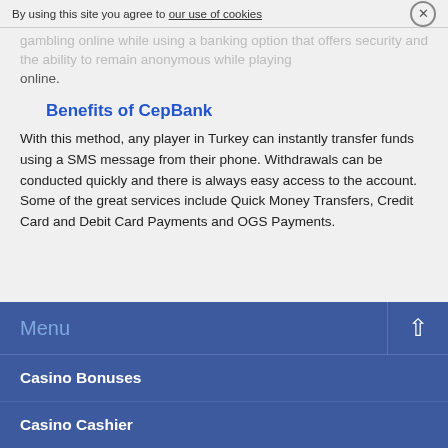By using this site you agree to our use of cookies ✕
gambling online while using a banking option that offers security and the ability to remain anonymous while playing online.
Benefits of CepBank
With this method, any player in Turkey can instantly transfer funds using a SMS message from their phone. Withdrawals can be conducted quickly and there is always easy access to the account. Some of the great services include Quick Money Transfers, Credit Card and Debit Card Payments and OGS Payments.
Menu
Casino Bonuses
Casino Cashier